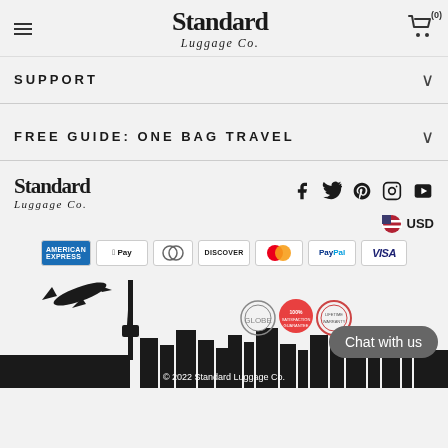Standard Luggage Co.
SUPPORT
FREE GUIDE: ONE BAG TRAVEL
[Figure (logo): Standard Luggage Co. logo with social media icons (Facebook, Twitter, Pinterest, Instagram, YouTube) and USD currency indicator]
[Figure (logo): Payment method badges: American Express, Apple Pay, Diners Club, Discover, Mastercard, PayPal, Visa]
[Figure (illustration): City skyline silhouette with airplane and CN Tower, trust badge icons, Chat with us button]
© 2022 Standard Luggage Co.